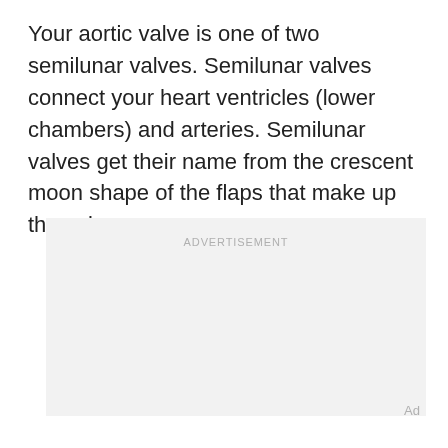Your aortic valve is one of two semilunar valves. Semilunar valves connect your heart ventricles (lower chambers) and arteries. Semilunar valves get their name from the crescent moon shape of the flaps that make up the valve.
[Figure (other): Advertisement placeholder box with light grey background and 'ADVERTISEMENT' label text centered at top]
Ad